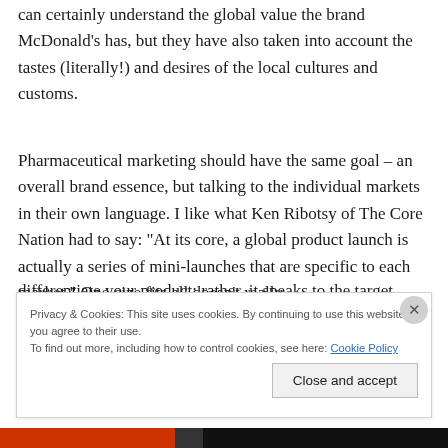can certainly understand the global value the brand McDonald's has, but they have also taken into account the tastes (literally!) and desires of the local cultures and customs.
Pharmaceutical marketing should have the same goal – an overall brand essence, but talking to the individual markets in their own language. I like what Ken Ribotsy of The Core Nation had to say: "At its core, a global product launch is actually a series of mini-launches that are specific to each market." One-size fits all doesn't really
Privacy & Cookies: This site uses cookies. By continuing to use this website, you agree to their use.
To find out more, including how to control cookies, see here: Cookie Policy
Close and accept